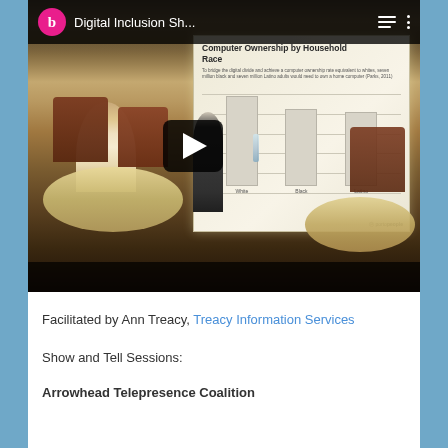[Figure (screenshot): YouTube video thumbnail showing a conference room presentation. The video title reads 'Digital Inclusion Sh...' with a pink circle 'b' logo. A presenter stands near a projection screen showing 'Computer Ownership by Household Race' bar chart. Audience members and round tables are visible. A play button is overlaid in the center.]
Facilitated by Ann Treacy, Treacy Information Services
Show and Tell Sessions:
Arrowhead Telepresence Coalition